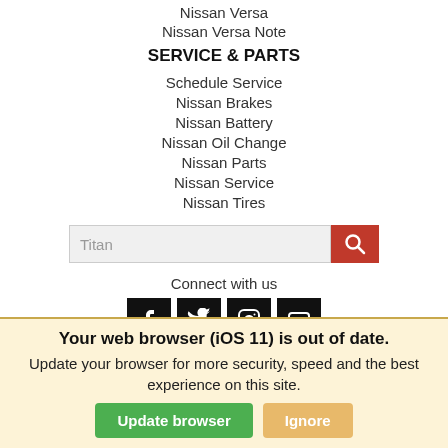Nissan Versa
Nissan Versa Note
SERVICE & PARTS
Schedule Service
Nissan Brakes
Nissan Battery
Nissan Oil Change
Nissan Parts
Nissan Service
Nissan Tires
[Figure (screenshot): Search bar with placeholder text 'Titan' and a red search button with magnifying glass icon]
Connect with us
[Figure (infographic): Four social media icons: Facebook, Twitter, Instagram, YouTube — all in black square backgrounds]
Your web browser (iOS 11) is out of date. Update your browser for more security, speed and the best experience on this site. [Update browser] [Ignore]